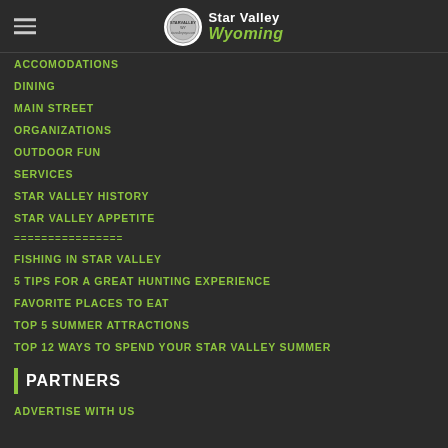Star Valley Wyoming
ACCOMODATIONS
DINING
MAIN STREET
ORGANIZATIONS
OUTDOOR FUN
SERVICES
STAR VALLEY HISTORY
STAR VALLEY APPETITE
================
FISHING IN STAR VALLEY
5 TIPS FOR A GREAT HUNTING EXPERIENCE
FAVORITE PLACES TO EAT
TOP 5 SUMMER ATTRACTIONS
TOP 12 WAYS TO SPEND YOUR STAR VALLEY SUMMER
PARTNERS
ADVERTISE WITH US